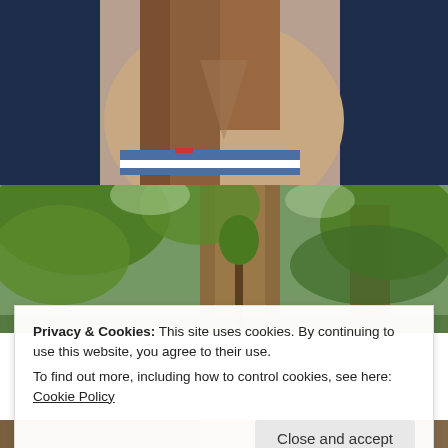[Figure (photo): Close-up photo of a woman with long brown hair wearing a white top and dark blue cardigan]
[Figure (photo): Photo of green tropical trees with a large tree trunk in the center and lush foliage]
Privacy & Cookies: This site uses cookies. By continuing to use this website, you agree to their use.
To find out more, including how to control cookies, see here: Cookie Policy
[Figure (photo): Partial bottom strip of a photo showing outdoor scene]